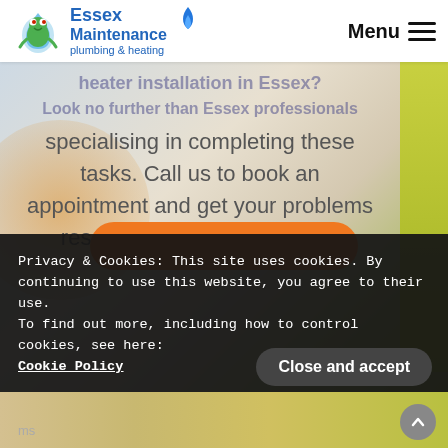[Figure (logo): Essex Maintenance plumbing & heating logo with frog and water drop, flame icon]
Menu ≡
heater installation in Essex? Look no further than Essex professionals specialising in completing these tasks. Call us to book an appointment and get your problems resolved. Contact us today.
Privacy & Cookies: This site uses cookies. By continuing to use this website, you agree to their use.
To find out more, including how to control cookies, see here:
Cookie Policy
Close and accept